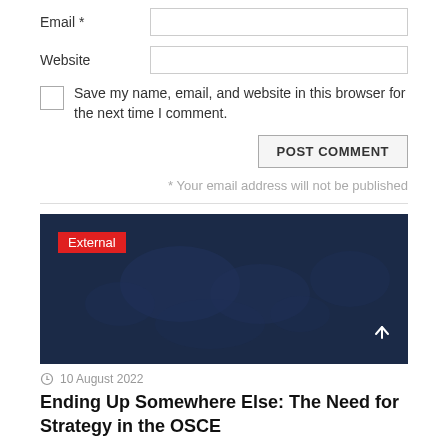Email *
Website
Save my name, email, and website in this browser for the next time I comment.
POST COMMENT
* Your email address will not be published
[Figure (photo): Dark navy blue world map background image with 'External' red badge label in top left]
External
10 August 2022
Ending Up Somewhere Else: The Need for Strategy in the OSCE